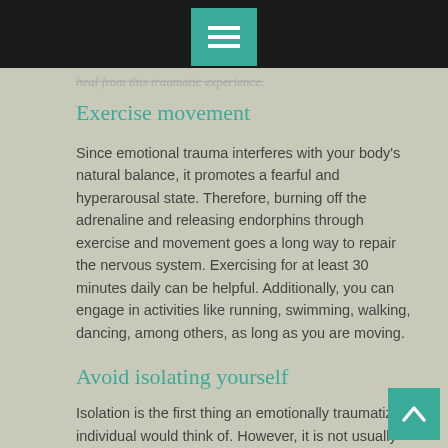heal from this traumatic experience.
Exercise movement
Since emotional trauma interferes with your body's natural balance, it promotes a fearful and hyperarousal state. Therefore, burning off the adrenaline and releasing endorphins through exercise and movement goes a long way to repair the nervous system. Exercising for at least 30 minutes daily can be helpful. Additionally, you can engage in activities like running, swimming, walking, dancing, among others, as long as you are moving.
Avoid isolating yourself
Isolation is the first thing an emotionally traumatized individual would think of. However, it is not usually the best option. Talking and